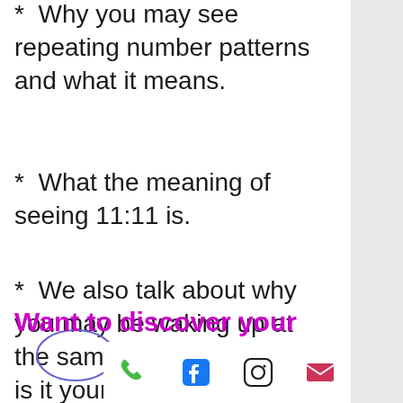* Why you may see repeating number patterns and what it means.
* What the meaning of seeing 11:11 is.
* We also talk about why you may be waking up at the same time every night - is it your Guides or something else?
Want to discover your
[Figure (infographic): Mobile app bottom navigation bar with phone, Facebook, Instagram, and email icons]